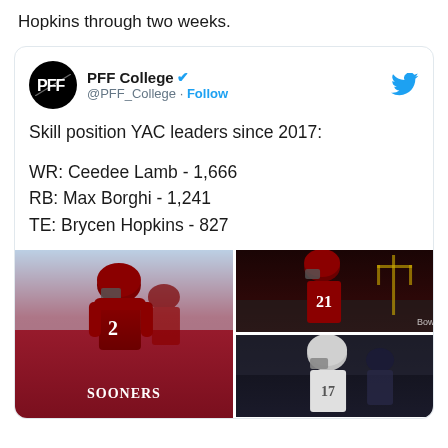Hopkins through two weeks.
[Figure (screenshot): Tweet from @PFF_College showing skill position YAC leaders since 2017: WR Ceedee Lamb 1,666; RB Max Borghi 1,241; TE Brycen Hopkins 827, with photos of football players including an Oklahoma Sooners player #2, a player #21, and a player #17.]